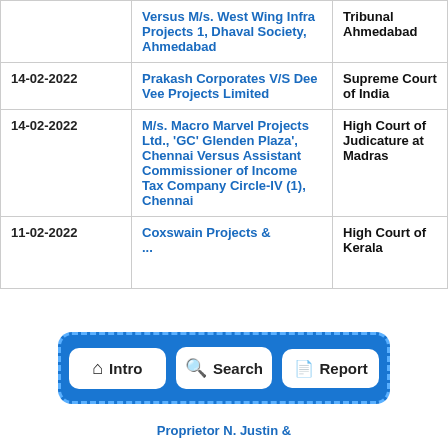| Date | Case | Court |
| --- | --- | --- |
|  | Versus M/s. West Wing Infra Projects 1, Dhaval Society, Ahmedabad | Tribunal Ahmedabad |
| 14-02-2022 | Prakash Corporates V/S Dee Vee Projects Limited | Supreme Court of India |
| 14-02-2022 | M/s. Macro Marvel Projects Ltd., 'GC' Glenden Plaza', Chennai Versus Assistant Commissioner of Income Tax Company Circle-IV (1), Chennai | High Court of Judicature at Madras |
| 11-02-2022 | Coxswain Projects &... | High Court of Kerala |
[Figure (infographic): Navigation bar overlay with blue dashed border containing three white buttons: Intro (home icon), Search (magnifier icon), Report (document icon)]
Proprietor N. Justin &